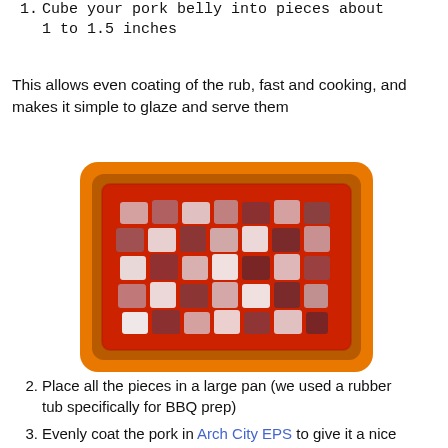1. Cube your pork belly into pieces about 1 to 1.5 inches
This allows even coating of the rub, fast and cooking, and makes it simple to glaze and serve them
[Figure (photo): Top-down view of raw cubed pork belly pieces in an orange/red rectangular pan, showing white fat and dark red meat marbling on the cubes.]
2. Place all the pieces in a large pan (we used a rubber tub specifically for BBQ prep)
3. Evenly coat the pork in Arch City EPS to give it a nice base layer of savory flavors